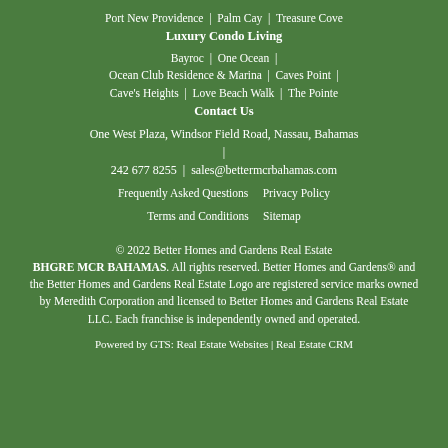Port New Providence  |  Palm Cay  |  Treasure Cove
Luxury Condo Living
Bayroc  |  One Ocean  |  Ocean Club Residence & Marina  |  Caves Point  |  Cave's Heights  |  Love Beach Walk  |  The Pointe
Contact Us
One West Plaza, Windsor Field Road, Nassau, Bahamas
242 677 8255  |  sales@bettermcrbahamas.com
Frequently Asked Questions    Privacy Policy
Terms and Conditions    Sitemap
© 2022 Better Homes and Gardens Real Estate BHGRE MCR BAHAMAS. All rights reserved. Better Homes and Gardens® and the Better Homes and Gardens Real Estate Logo are registered service marks owned by Meredith Corporation and licensed to Better Homes and Gardens Real Estate LLC. Each franchise is independently owned and operated.
Powered by GTS: Real Estate Websites | Real Estate CRM